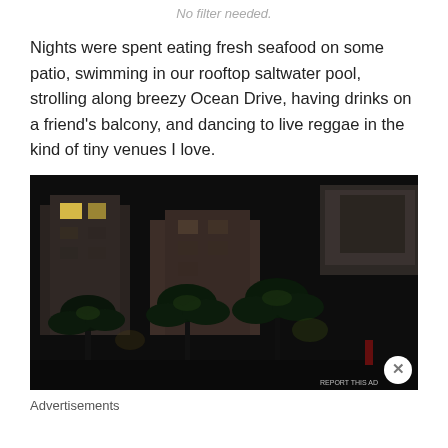No filter needed.
Nights were spent eating fresh seafood on some patio, swimming in our rooftop saltwater pool, strolling along breezy Ocean Drive, having drinks on a friend's balcony, and dancing to live reggae in the kind of tiny venues I love.
[Figure (photo): Night scene of Ocean Drive area with palm trees in foreground and multi-story buildings lit up in background against dark sky]
Advertisements